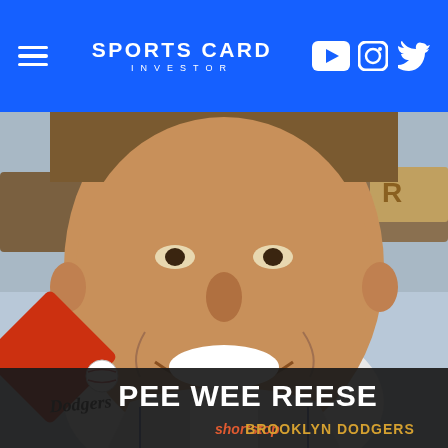SPORTS CARD INVESTOR
[Figure (illustration): Vintage 1953 Topps baseball card of Pee Wee Reese, Brooklyn Dodgers shortstop. Close-up illustrated portrait of smiling man in baseball uniform. Bottom-left has a red diamond with Dodgers logo and baseball. Bottom text reads PEE WEE REESE in white, shortstop BROOKLYN DODGERS below.]